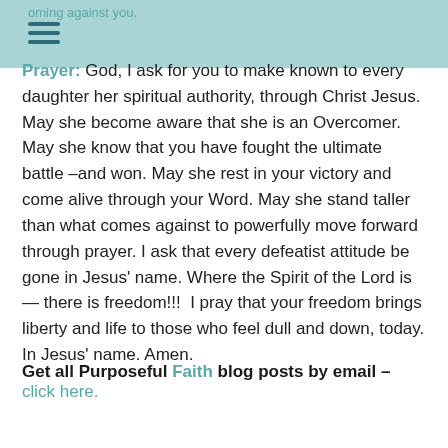oming against you.
Prayer: God, I ask for you to make known to every daughter her spiritual authority, through Christ Jesus. May she become aware that she is an Overcomer. May she know that you have fought the ultimate battle –and won. May she rest in your victory and come alive through your Word. May she stand taller than what comes against to powerfully move forward through prayer. I ask that every defeatist attitude be gone in Jesus' name. Where the Spirit of the Lord is — there is freedom!!!  I pray that your freedom brings liberty and life to those who feel dull and down, today. In Jesus' name. Amen.
Get all Purposeful Faith blog posts by email – click here.